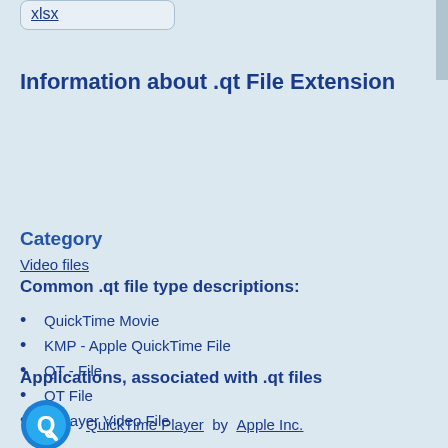xlsx
Information about .qt File Extension
Category
Video files
Common .qt file type descriptions:
QuickTime Movie
KMP - Apple QuickTime File
QT - File
QT File
MPlayer Video File
Applications, associated with .qt files
QuickTime Player by Apple Inc.